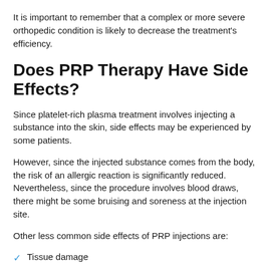It is important to remember that a complex or more severe orthopedic condition is likely to decrease the treatment's efficiency.
Does PRP Therapy Have Side Effects?
Since platelet-rich plasma treatment involves injecting a substance into the skin, side effects may be experienced by some patients.
However, since the injected substance comes from the body, the risk of an allergic reaction is significantly reduced. Nevertheless, since the procedure involves blood draws, there might be some bruising and soreness at the injection site.
Other less common side effects of PRP injections are:
Tissue damage